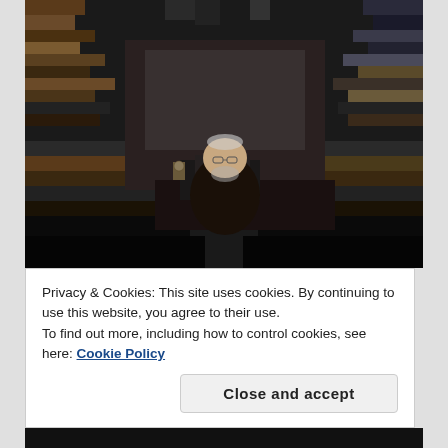[Figure (photo): A man with glasses and a white beard sitting at a desk in a room with dramatic pixelated/glitched geometric patterns of dark, brown, and grey tones covering the walls and ceiling.]
Privacy & Cookies: This site uses cookies. By continuing to use this website, you agree to their use.
To find out more, including how to control cookies, see here: Cookie Policy
Close and accept